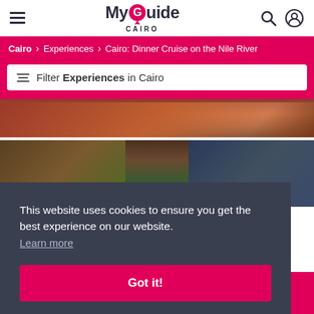MyGuide CAIRO
Cairo > Experiences > Cairo: Dinner Cruise on the Nile River
Filter Experiences in Cairo
[Figure (photo): Photo of a dinner cruise table setting with warm reddish lighting]
[Figure (photo): Photo of a Nile dinner cruise boat with green and orange lighting]
This website uses cookies to ensure you get the best experience on our website. Learn more
Got it!